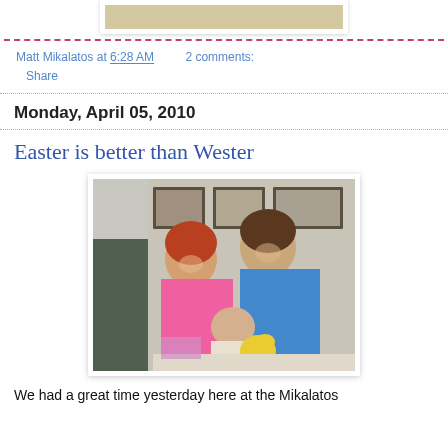[Figure (photo): Partial top of a photo, cropped at top of page]
Matt Mikalatos at 6:28 AM   2 comments:
Share
Monday, April 05, 2010
Easter is better than Wester
[Figure (photo): Two girls and a baby sitting together. The older girl wears a blue shirt, the younger wears a pink dress. A baby sits in front with a yellow toy. Framed pictures on wall behind them.]
We had a great time yesterday here at the Mikalatos